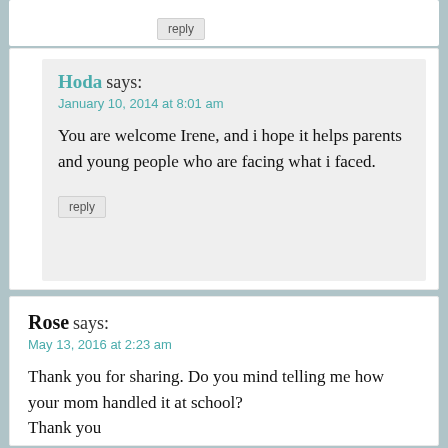reply
Hoda says:
January 10, 2014 at 8:01 am

You are welcome Irene, and i hope it helps parents and young people who are facing what i faced.

reply
Rose says:
May 13, 2016 at 2:23 am

Thank you for sharing. Do you mind telling me how your mom handled it at school?
Thank you

reply